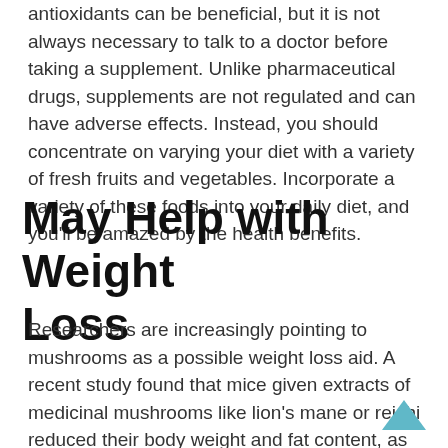antioxidants can be beneficial, but it is not always necessary to talk to a doctor before taking a supplement. Unlike pharmaceutical drugs, supplements are not regulated and can have adverse effects. Instead, you should concentrate on varying your diet with a variety of fresh fruits and vegetables. Incorporate a variety of these foods into your daily diet, and you'll be amazed by the health benefits.
May Help with Weight Loss
Researchers are increasingly pointing to mushrooms as a possible weight loss aid. A recent study found that mice given extracts of medicinal mushrooms like lion's mane or reishi reduced their body weight and fat content, as well as had lower inflammation. The findings